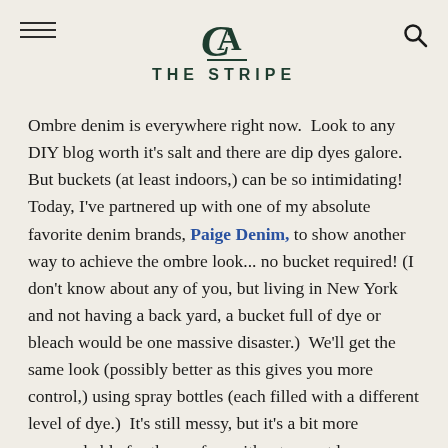THE STRIPE
Ombre denim is everywhere right now.  Look to any DIY blog worth it's salt and there are dip dyes galore.  But buckets (at least indoors,) can be so intimidating!  Today, I've partnered up with one of my absolute favorite denim brands, Paige Denim, to show another way to achieve the ombre look... no bucket required! (I don't know about any of you, but living in New York and not having a back yard, a bucket full of dye or bleach would be one massive disaster.)  We'll get the same look (possibly better as this gives you more control,) using spray bottles (each filled with a different level of dye.)  It's still messy, but it's a bit more approachable for those of us without an outdoor space, and I think it is one of the time savings...